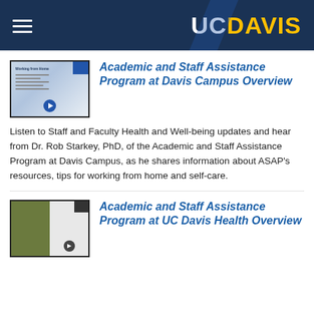UC DAVIS
Academic and Staff Assistance Program at Davis Campus Overview
Listen to Staff and Faculty Health and Well-being updates and hear from Dr. Rob Starkey, PhD, of the Academic and Staff Assistance Program at Davis Campus, as he shares information about ASAP's resources, tips for working from home and self-care.
Academic and Staff Assistance Program at UC Davis Health Overview